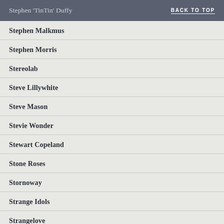Stephen 'TinTin' Duffy    BACK TO TOP
Stephen Malkmus
Stephen Morris
Stereolab
Steve Lillywhite
Steve Mason
Stevie Wonder
Stewart Copeland
Stone Roses
Stornoway
Strange Idols
Strangelove
Strangeways Glasgow